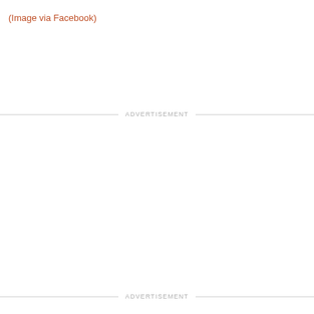(Image via Facebook)
ADVERTISEMENT
ADVERTISEMENT